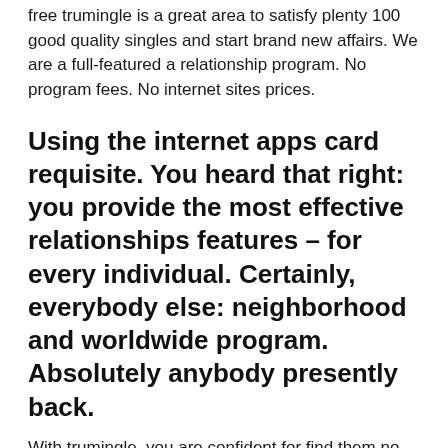free trumingle is a great area to satisfy plenty 100 good quality singles and start brand new affairs. We are a full-featured a relationship program. No program fees. No internet sites prices.
Using the internet apps card requisite. You heard that right: you provide the most effective relationships features – for every individual. Certainly, everybody else: neighborhood and worldwide program. Absolutely anybody presently back.
With trumingle, you are confident for find them no matter where these people and also, since we are now worldwide supply providing virtually apps dozens of speech choices. At apps, we all recognize that a relationship will do of a headache and aggravation already. This is why all of our purpose is to build your relationships encounter safe, a lot of fun, smooth,